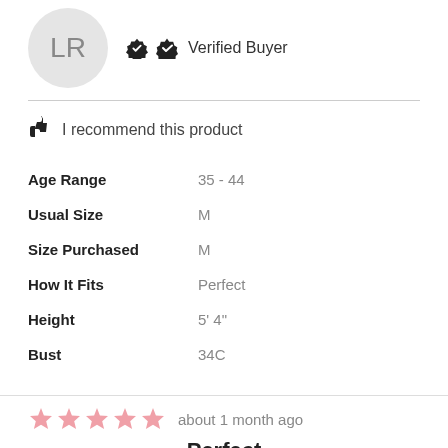[Figure (illustration): Avatar circle with initials LR in gray]
Verified Buyer
I recommend this product
| Age Range | 35 - 44 |
| Usual Size | M |
| Size Purchased | M |
| How It Fits | Perfect |
| Height | 5' 4" |
| Bust | 34C |
[Figure (illustration): 5 pink stars rating]
about 1 month ago
Perfect
This bathing suit is so well made, fit perfectly, stayed put, and is so